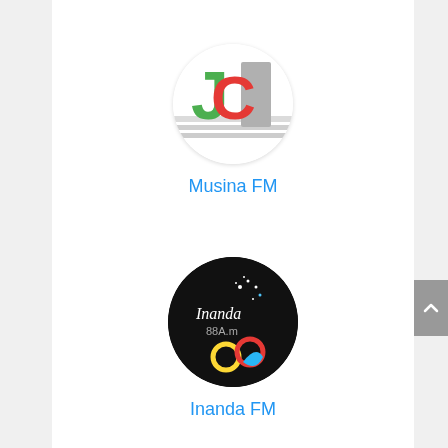[Figure (logo): Musina FM radio station logo — circular logo with green J, red C, gray stripes on white background]
Musina FM
[Figure (logo): Inanda FM 88.4 radio station logo — circular black logo with colorful circles (yellow, red, blue) and text Inanda 88.4m]
Inanda FM